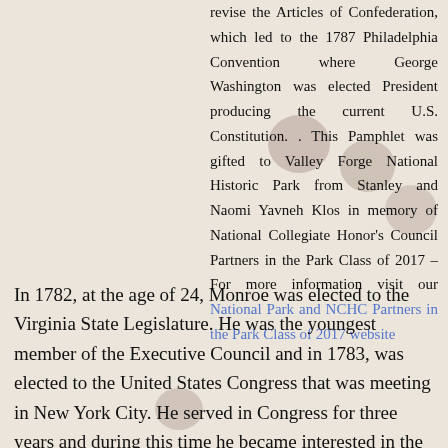revise the Articles of Confederation, which led to the 1787 Philadelphia Convention where George Washington was elected President producing the current U.S. Constitution. . This Pamphlet was gifted to Valley Forge National Historic Park from Stanley and Naomi Yavneh Klos in memory of National Collegiate Honor's Council Partners in the Park Class of 2017 – For more information visit our National Park and NCHC Partners in the Park Class of 2017 website
In 1782, at the age of 24, Monroe was elected to the Virginia State Legislature. He was the youngest member of the Executive Council and in 1783, was elected to the United States Congress that was meeting in New York City. He served in Congress for three years and during this time he became interested in the settlement of the "western" lands